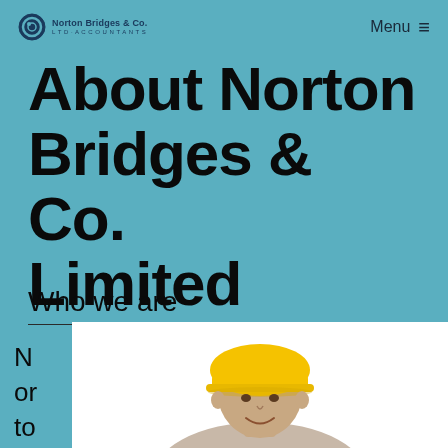Norton Bridges & Co. | Menu
About Norton Bridges & Co. Limited
Who we are
N or to n
[Figure (photo): Man wearing a yellow hard hat construction helmet, smiling, photographed from the shoulders up against a white background]